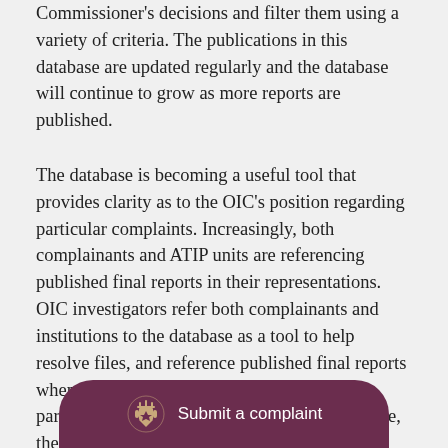Commissioner's decisions and filter them using a variety of criteria. The publications in this database are updated regularly and the database will continue to grow as more reports are published.
The database is becoming a useful tool that provides clarity as to the OIC's position regarding particular complaints. Increasingly, both complainants and ATIP units are referencing published final reports in their representations. OIC investigators refer both complainants and institutions to the database as a tool to help resolve files, and reference published final reports when representations are requested from the parties. In addition, at the complaint intake stage, the OIC's Registry has begun sending links to published final reports, which... ...ermine whether th... ...hese are
[Figure (other): A rounded pill-shaped banner with dark purple/maroon background showing a Canadian government coat of arms icon on the left and the text 'Submit a complaint' in white on the right, overlaid at the bottom of the page.]